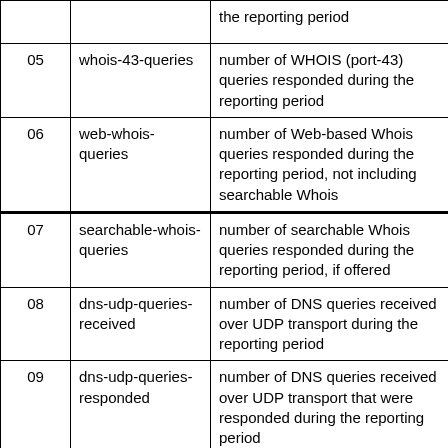|  |  |  |
| --- | --- | --- |
|  |  | the reporting period |
| 05 | whois-43-queries | number of WHOIS (port-43) queries responded during the reporting period |
| 06 | web-whois-queries | number of Web-based Whois queries responded during the reporting period, not including searchable Whois |
| 07 | searchable-whois-queries | number of searchable Whois queries responded during the reporting period, if offered |
| 08 | dns-udp-queries-received | number of DNS queries received over UDP transport during the reporting period |
| 09 | dns-udp-queries-responded | number of DNS queries received over UDP transport that were responded during the reporting period |
| 10 | dns-tcp-queries-received | number of DNS queries received over TCP transport during the reporting period |
| 11 | dns-tcp-queries- | number of DNS queries |